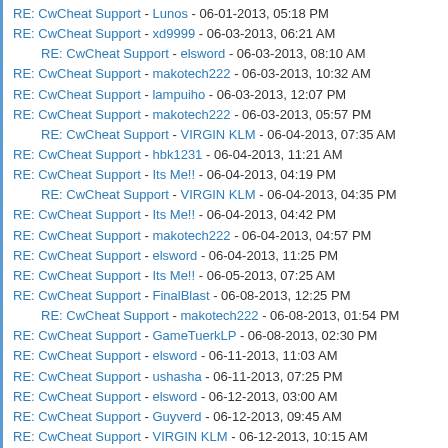RE: CwCheat Support - Lunos - 06-01-2013, 05:18 PM
RE: CwCheat Support - xd9999 - 06-03-2013, 06:21 AM
RE: CwCheat Support - elsword - 06-03-2013, 08:10 AM
RE: CwCheat Support - makotech222 - 06-03-2013, 10:32 AM
RE: CwCheat Support - lampuiho - 06-03-2013, 12:07 PM
RE: CwCheat Support - makotech222 - 06-03-2013, 05:57 PM
RE: CwCheat Support - VIRGIN KLM - 06-04-2013, 07:35 AM
RE: CwCheat Support - hbk1231 - 06-04-2013, 11:21 AM
RE: CwCheat Support - Its Me!! - 06-04-2013, 04:19 PM
RE: CwCheat Support - VIRGIN KLM - 06-04-2013, 04:35 PM
RE: CwCheat Support - Its Me!! - 06-04-2013, 04:42 PM
RE: CwCheat Support - makotech222 - 06-04-2013, 04:57 PM
RE: CwCheat Support - elsword - 06-04-2013, 11:25 PM
RE: CwCheat Support - Its Me!! - 06-05-2013, 07:25 AM
RE: CwCheat Support - FinalBlast - 06-08-2013, 12:25 PM
RE: CwCheat Support - makotech222 - 06-08-2013, 01:54 PM
RE: CwCheat Support - GameTuerkLP - 06-08-2013, 02:30 PM
RE: CwCheat Support - elsword - 06-11-2013, 11:03 AM
RE: CwCheat Support - ushasha - 06-11-2013, 07:25 PM
RE: CwCheat Support - elsword - 06-12-2013, 03:00 AM
RE: CwCheat Support - Guyverd - 06-12-2013, 09:45 AM
RE: CwCheat Support - VIRGIN KLM - 06-12-2013, 10:15 AM
RE: CwCheat Support - makotech222 - 06-12-2013, 12:28 PM
RE: CwCheat Support - VIRGIN KLM - 06-12-2013, 12:37 PM
RE: CwCheat Support - makotech222 - 06-12-2013, 01:09 PM